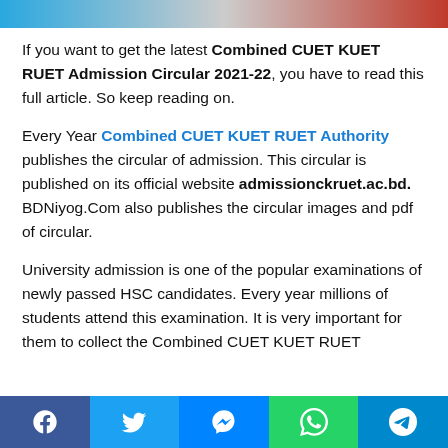[Figure (illustration): Top banner with blue and red gradient, partially visible logos]
If you want to get the latest Combined CUET KUET RUET Admission Circular 2021-22, you have to read this full article. So keep reading on.
Every Year Combined CUET KUET RUET Authority publishes the circular of admission. This circular is published on its official website admissionckruet.ac.bd. BDNiyog.Com also publishes the circular images and pdf of circular.
University admission is one of the popular examinations of newly passed HSC candidates. Every year millions of students attend this examination. It is very important for them to collect the Combined CUET KUET RUET admission circular 2021-22.
[Figure (infographic): Social media sharing bar with Facebook, Twitter, Messenger, WhatsApp, and Telegram icons]